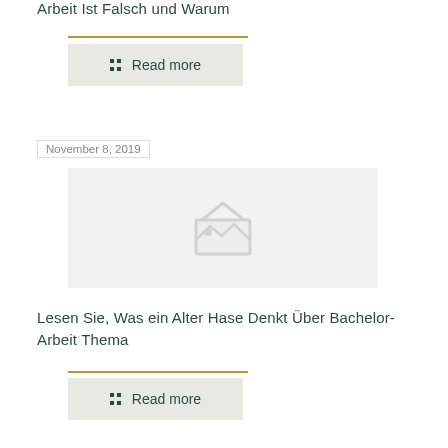Arbeit Ist Falsch und Warum
Read more
November 8, 2019
[Figure (photo): Placeholder image with broken image icon]
Lesen Sie, Was ein Alter Hase Denkt Über Bachelor-Arbeit Thema
Read more